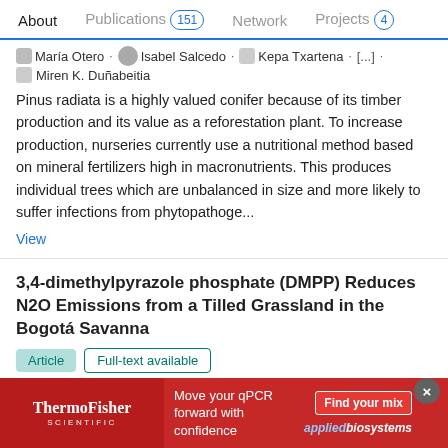About   Publications 151   Network   Projects 4
María Otero · Isabel Salcedo · Kepa Txartena · [...] · Miren K. Duñabeitia
Pinus radiata is a highly valued conifer because of its timber production and its value as a reforestation plant. To increase production, nurseries currently use a nutritional method based on mineral fertilizers high in macronutrients. This produces individual trees which are unbalanced in size and more likely to suffer infections from phytopathoge...
View
3,4-dimethylpyrazole phosphate (DMPP) Reduces N2O Emissions from a Tilled Grassland in the Bogotá Savanna
Article   Full-text available
Feb 2019
Ximena Huérfano · Sergio Menéndez · Matha-Marina